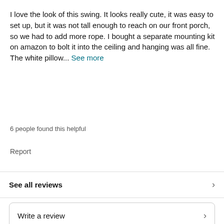I love the look of this swing. It looks really cute, it was easy to set up, but it was not tall enough to reach on our front porch, so we had to add more rope. I bought a separate mounting kit on amazon to bolt it into the ceiling and hanging was all fine. The white pillow... See more
6 people found this helpful
Report
See all reviews
Write a review
Customers who bought this item also bought